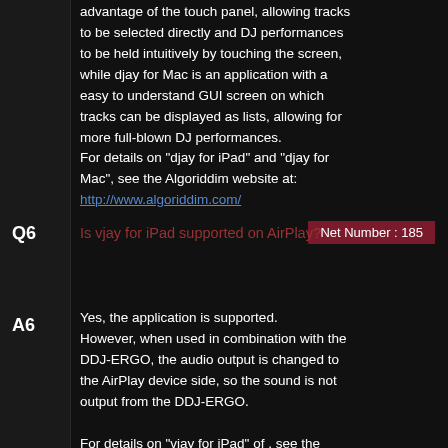advantage of the touch panel, allowing tracks to be selected directly and DJ performances to be held intuitively by touching the screen, while djay for Mac is an application with a easy to understand GUI screen on which tracks can be displayed as lists, allowing for more full-blown DJ performances.
For details on "djay for iPad" and "djay for Mac", see the Algoriddim website at:
http://www.algoriddim.com/
Net Number : 185
Q6
Is vjay for iPad supported on AirPlay?
A6
Yes, the application is supported.
However, when used in combination with the DDJ-ERGO, the audio output is changed to the AirPlay device side, so the sound is not output from the DDJ-ERGO.

For details on "vjay for iPad" of , see the Algoriddim website at: